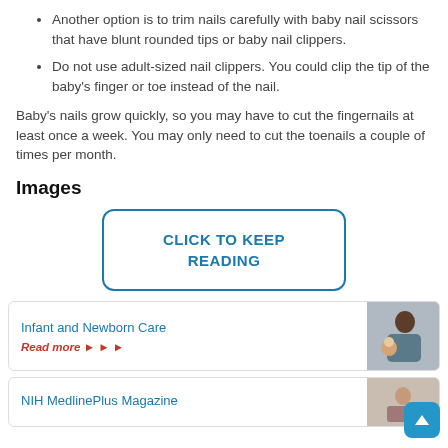Another option is to trim nails carefully with baby nail scissors that have blunt rounded tips or baby nail clippers.
Do not use adult-sized nail clippers. You could clip the tip of the baby's finger or toe instead of the nail.
Baby's nails grow quickly, so you may have to cut the fingernails at least once a week. You may only need to cut the toenails a couple of times per month.
Images
[Figure (other): A button/link element with text CLICK TO KEEP READING inside a rounded rectangle border]
[Figure (other): Card with link Infant and Newborn Care, Read more arrows, and photo of man holding baby]
[Figure (other): Card with link NIH MedlinePlus Magazine, partially visible at bottom]